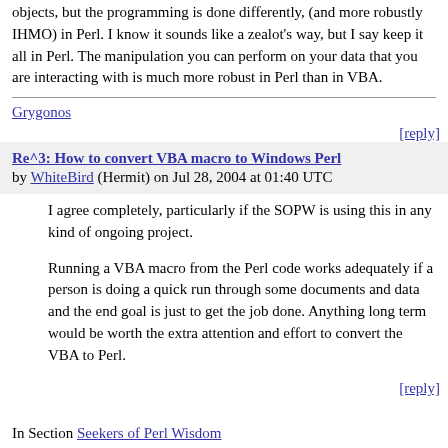objects, but the programming is done differently, (and more robustly IHMO) in Perl. I know it sounds like a zealot's way, but I say keep it all in Perl. The manipulation you can perform on your data that you are interacting with is much more robust in Perl than in VBA.
Grygonos
[reply]
Re^3: How to convert VBA macro to Windows Perl by WhiteBird (Hermit) on Jul 28, 2004 at 01:40 UTC
I agree completely, particularly if the SOPW is using this in any kind of ongoing project.
Running a VBA macro from the Perl code works adequately if a person is doing a quick run through some documents and data and the end goal is just to get the job done. Anything long term would be worth the extra attention and effort to convert the VBA to Perl.
[reply]
In Section Seekers of Perl Wisdom